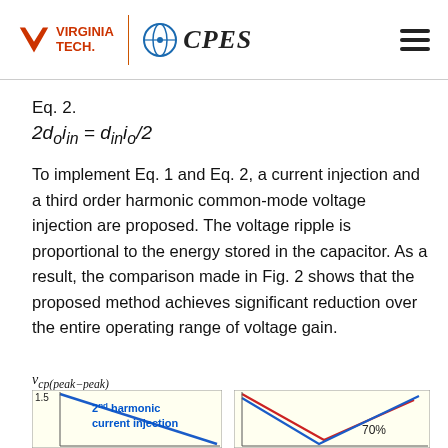Virginia Tech CPES
To implement Eq. 1 and Eq. 2, a current injection and a third order harmonic common-mode voltage injection are proposed. The voltage ripple is proportional to the energy stored in the capacitor. As a result, the comparison made in Fig. 2 shows that the proposed method achieves significant reduction over the entire operating range of voltage gain.
[Figure (continuous-plot): v_cp(peak-peak) chart showing 2nd harmonic current injection curve (blue line descending) on yellow background, y-axis up to 1.5]
[Figure (continuous-plot): Chart on yellow background showing 70% label and two lines (red and blue) in a V-shape]